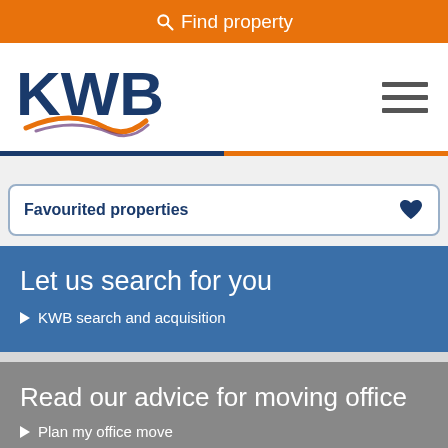Find property
[Figure (logo): KWB company logo with blue text and orange/purple swoosh]
Favourited properties
Let us search for you
KWB search and acquisition
Read our advice for moving office
Plan my office move